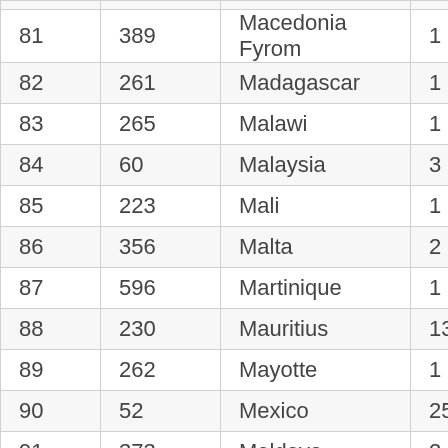| 81 | 389 | Macedonia Fyrom | 1 |
| 82 | 261 | Madagascar | 1 |
| 83 | 265 | Malawi | 1 |
| 84 | 60 | Malaysia | 3 |
| 85 | 223 | Mali | 1 |
| 86 | 356 | Malta | 2 |
| 87 | 596 | Martinique | 1 |
| 88 | 230 | Mauritius | 13 |
| 89 | 262 | Mayotte | 1 |
| 90 | 52 | Mexico | 25 |
| 91 | 373 | Moldova | 2 |